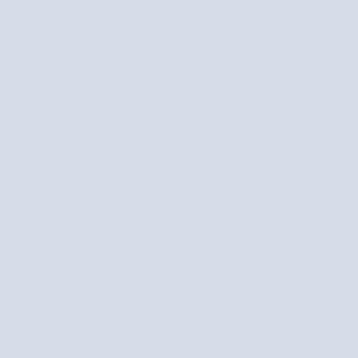BitsDuJour
[Figure (screenshot): 100% Clean shield badge - NO VIRUSES NO SPYWARE Certified by BitsDuJour]
<a href="https://www.bitsdujour.com/software/archiver/virus-scan" title="Arc Scan Report"><img src="http://www.bitsdujour.com/img/clean-virus-scan-so 1.png" height="106" width="170" border="0" alt="Archiver Virus Scan Repor
[Figure (screenshot): Flipped red seal badge - CLEAN NO SPYWARE Certified by BitsDuJour]
<a href="https://www.bitsdujour.com/software/archiver/virus-scan" title="Arc Scan Report"><img src="http://www.bitsdujour.com/img/clean-virus-scan-so 2.png" height="106" width="156" border="0" alt="Archiver Virus Scan Repor
[Figure (screenshot): Gold seal badge - NO SPYWARE Certified by BitsDuJour]
<a href="https://www.bitsdujour.com/software/archiver/virus-scan" title="Arc Scan Report"><img src="http://www.bitsdujour.com/img/clean-virus-scan-so 3.png" height="106" width="156" border="0" alt="Archiver Virus Scan Repor